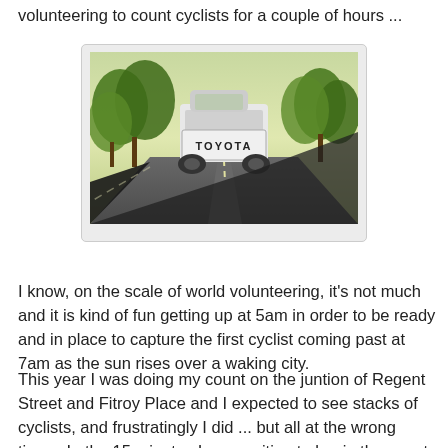volunteering to count cyclists for a couple of hours ...
[Figure (photo): Dashcam-style photo taken from inside a car, showing the rear of a white Toyota pickup truck on a tree-lined suburban road. The Toyota logo is visible on the tailgate.]
I know, on the scale of world volunteering, it's not much and it is kind of fun getting up at 5am in order to be ready and in place to capture the first cyclist coming past at 7am as the sun rises over a waking city.
This year I was doing my count on the juntion of Regent Street and Fitroy Place and I expected to see stacks of cyclists, and frustratingly I did ... but all at the wrong times. In the 15 minutes I was waiting to begin the count, I had seven cyclists go through my intersection and then in the five minutes after 9am, eight more cyclists went through